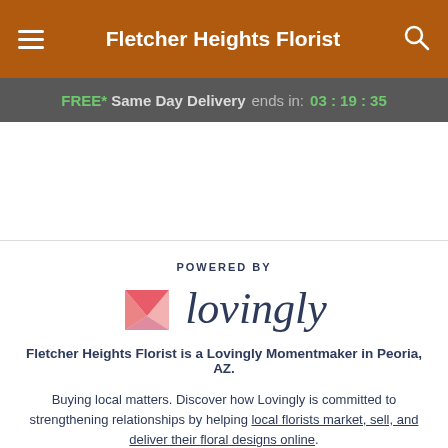Fletcher Heights Florist
FREE* Same Day Delivery ends in: 03 : 19 : 35
[Figure (logo): Lovingly logo with pink envelope/heart icon and 'lovingly' wordmark in dark navy. Labeled 'POWERED BY' above.]
Fletcher Heights Florist is a Lovingly Momentmaker in Peoria, AZ.
Buying local matters. Discover how Lovingly is committed to strengthening relationships by helping local florists market, sell, and deliver their floral designs online.